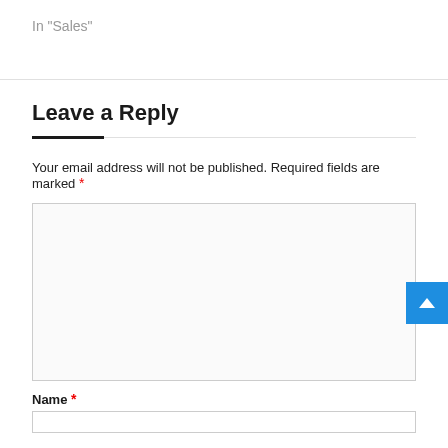In "Sales"
Leave a Reply
Your email address will not be published. Required fields are marked *